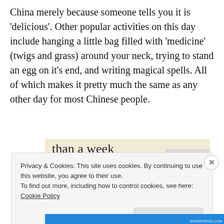China merely because someone tells you it is 'delicious'. Other popular activities on this day include hanging a little bag filled with 'medicine' (twigs and grass) around your neck, trying to stand an egg on it's end, and writing magical spells. All of which makes it pretty much the same as any other day for most Chinese people.
[Figure (screenshot): Advertisement banner with beige background showing partial text 'than a week', a green 'Explore options' button, and a mockup of a website/app interface on the right side.]
Privacy & Cookies: This site uses cookies. By continuing to use this website, you agree to their use.
To find out more, including how to control cookies, see here: Cookie Policy
Close and accept